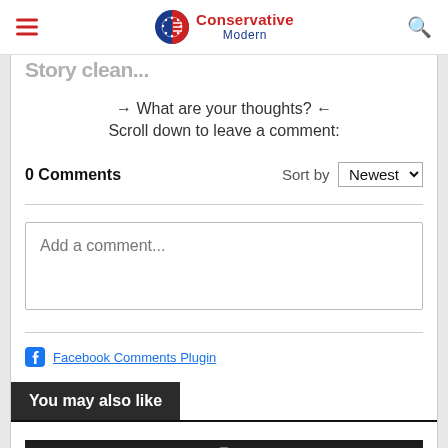Conservative Modern
Story clean...
→ What are your thoughts? ←
Scroll down to leave a comment:
0 Comments  Sort by  Newest
Add a comment...
Facebook Comments Plugin
You may also like
[Figure (photo): Thumbnail photo of a person outdoors with green foliage in the background]